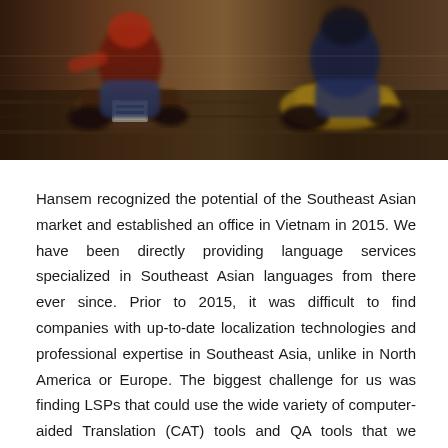[Figure (photo): Street scene photograph showing people riding motorcycles, viewed from behind. The image is dark and motion-blurred. Two motorcycles are visible, one on the left with a red jacket rider, one on the right with a yellow motorcycle. A license plate is partially visible.]
Hansem recognized the potential of the Southeast Asian market and established an office in Vietnam in 2015. We have been directly providing language services specialized in Southeast Asian languages from there ever since. Prior to 2015, it was difficult to find companies with up-to-date localization technologies and professional expertise in Southeast Asia, unlike in North America or Europe. The biggest challenge for us was finding LSPs that could use the wide variety of computer-aided Translation (CAT) tools and QA tools that we required.